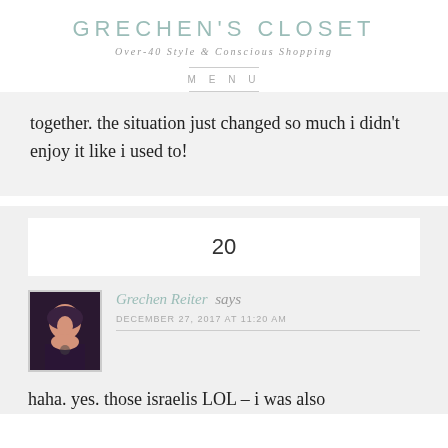GRECHEN'S CLOSET
Over-40 Style & Conscious Shopping
MENU
together. the situation just changed so much i didn't enjoy it like i used to!
20
Grechen Reiter says
DECEMBER 27, 2017 AT 11:20 AM
haha. yes. those israelis LOL – i was also